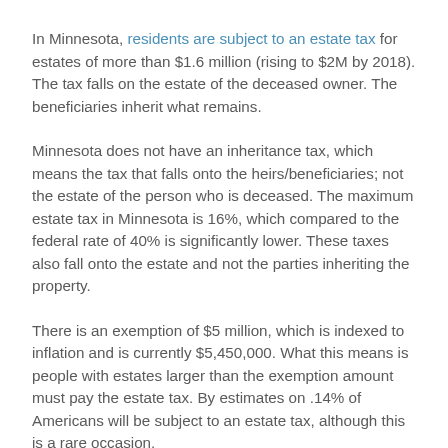In Minnesota, residents are subject to an estate tax for estates of more than $1.6 million (rising to $2M by 2018). The tax falls on the estate of the deceased owner. The beneficiaries inherit what remains.
Minnesota does not have an inheritance tax, which means the tax that falls onto the heirs/beneficiaries; not the estate of the person who is deceased. The maximum estate tax in Minnesota is 16%, which compared to the federal rate of 40% is significantly lower. These taxes also fall onto the estate and not the parties inheriting the property.
There is an exemption of $5 million, which is indexed to inflation and is currently $5,450,000. What this means is people with estates larger than the exemption amount must pay the estate tax. By estimates on .14% of Americans will be subject to an estate tax, although this is a rare occasion.